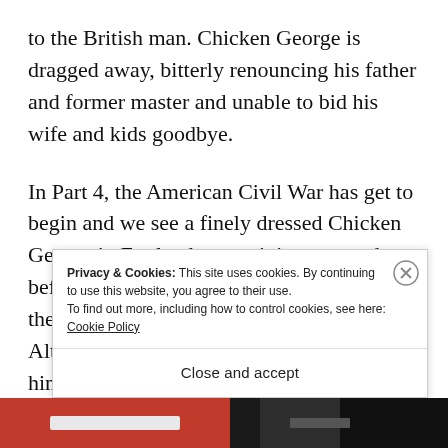to the British man. Chicken George is dragged away, bitterly renouncing his father and former master and unable to bid his wife and kids goodbye.
In Part 4, the American Civil War has get to begin and we see a finely dressed Chicken George in England entertaining a crowd before he returns to America, bitter at both the broken promises of his former masters. Although his British master finally did free him, free papers it was that the
Privacy & Cookies: This site uses cookies. By continuing to use this website, you agree to their use.
To find out more, including how to control cookies, see here: Cookie Policy
Close and accept